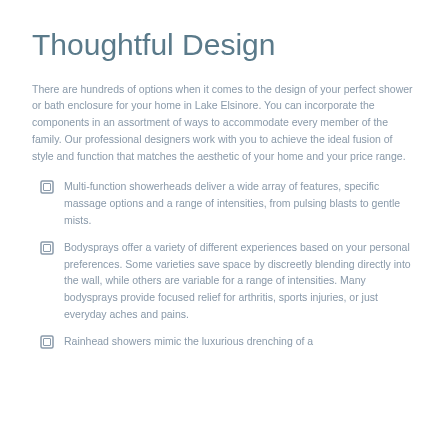Thoughtful Design
There are hundreds of options when it comes to the design of your perfect shower or bath enclosure for your home in Lake Elsinore. You can incorporate the components in an assortment of ways to accommodate every member of the family. Our professional designers work with you to achieve the ideal fusion of style and function that matches the aesthetic of your home and your price range.
Multi-function showerheads deliver a wide array of features, specific massage options and a range of intensities, from pulsing blasts to gentle mists.
Bodysprays offer a variety of different experiences based on your personal preferences. Some varieties save space by discreetly blending directly into the wall, while others are variable for a range of intensities. Many bodysprays provide focused relief for arthritis, sports injuries, or just everyday aches and pains.
Rainhead showers mimic the luxurious drenching of a...